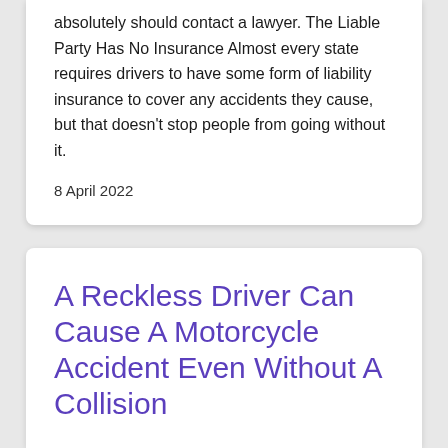absolutely should contact a lawyer. The Liable Party Has No Insurance Almost every state requires drivers to have some form of liability insurance to cover any accidents they cause, but that doesn't stop people from going without it.
8 April 2022
A Reckless Driver Can Cause A Motorcycle Accident Even Without A Collision